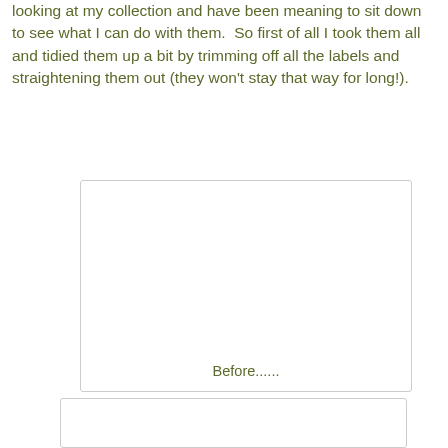looking at my collection and have been meaning to sit down to see what I can do with them.  So first of all I took them all and tidied them up a bit by trimming off all the labels and straightening them out (they won't stay that way for long!).
[Figure (photo): A white rectangular image box with rounded corners and a light gray border, mostly blank white space representing a 'Before' photo placeholder, with caption 'Before......' at the bottom center.]
[Figure (photo): A second white rectangular image box with rounded corners and a light gray border, partially visible at the bottom of the page, representing another photo placeholder.]